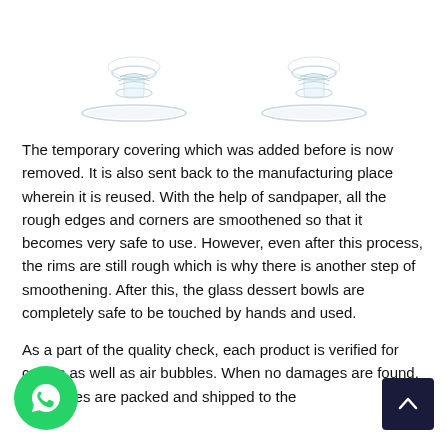[Figure (photo): Two glass dessert bowls viewed from below showing their bases/stems, photographed on white background]
The temporary covering which was added before is now removed. It is also sent back to the manufacturing place wherein it is reused. With the help of sandpaper, all the rough edges and corners are smoothened so that it becomes very safe to use. However, even after this process, the rims are still rough which is why there is another step of smoothening. After this, the glass dessert bowls are completely safe to be touched by hands and used.
As a part of the quality check, each product is verified for cracks as well as air bubbles. When no damages are found, the pieces are packed and shipped to the